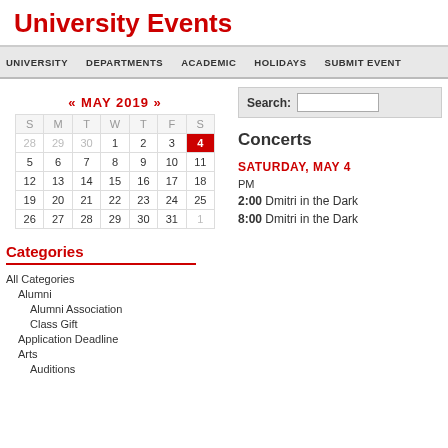University Events
UNIVERSITY  DEPARTMENTS  ACADEMIC  HOLIDAYS  SUBMIT EVENT
[Figure (other): May 2019 calendar grid with dates 1-31 and inactive dates 28-30 from previous month and 1 from next month. Date 4 is highlighted in red.]
Categories
All Categories
Alumni
Alumni Association
Class Gift
Application Deadline
Arts
Auditions
Search:
Concerts
SATURDAY, MAY 4
PM
2:00 Dmitri in the Dark
8:00 Dmitri in the Dark